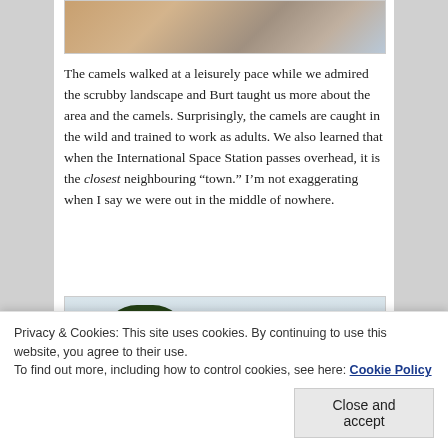[Figure (photo): Partial top photo showing camels with colorful saddle gear, cropped at top of page]
The camels walked at a leisurely pace while we admired the scrubby landscape and Burt taught us more about the area and the camels. Surprisingly, the camels are caught in the wild and trained to work as adults. We also learned that when the International Space Station passes overhead, it is the closest neighbouring “town.” I’m not exaggerating when I say we were out in the middle of nowhere.
[Figure (photo): Photo showing a large green tree against a cloudy sky with red/orange ground below, partially visible]
Privacy & Cookies: This site uses cookies. By continuing to use this website, you agree to their use.
To find out more, including how to control cookies, see here: Cookie Policy
Close and accept